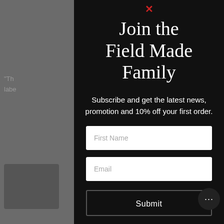[Figure (screenshot): Background dimmed webpage with partial text visible on left and right sides]
Join the Field Made Family
Subscribe and get the latest news, promotion and 10% off your first order.
First Name
Email
Submit